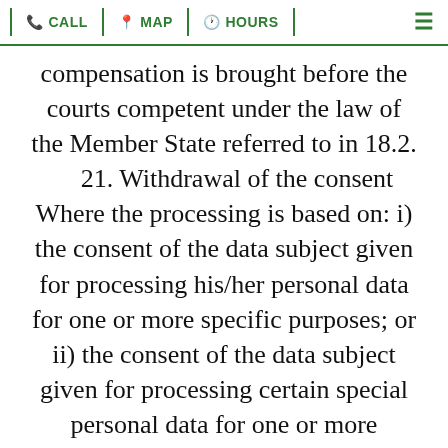CALL | MAP | HOURS
compensation is brought before the courts competent under the law of the Member State referred to in 18.2. 21. Withdrawal of the consent Where the processing is based on: i) the consent of the data subject given for processing his/her personal data for one or more specific purposes; or ii) the consent of the data subject given for processing certain special personal data for one or more